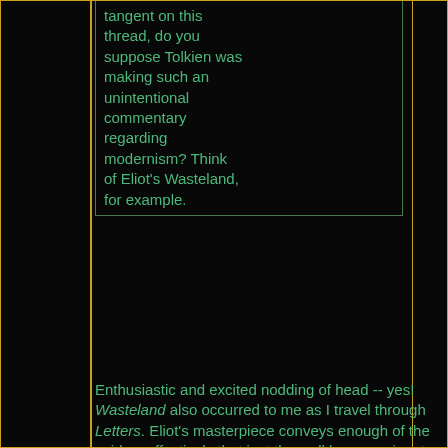tangent on this thread, do you suppose Tolkien was making such an unintentional commentary regarding modernism? Think of Eliot's Wasteland, for example.
Enthusiastic and excited nodding of head -- yes! Wasteland also occurred to me as I travel through Letters. Eliot's masterpiece conveys enough of the void so effectively that just the well known snippets can bring on those shivers.
Davem:
Quote:
As for the Half-Elven, this is a very complex matter - how can they choose? To the extent that they're